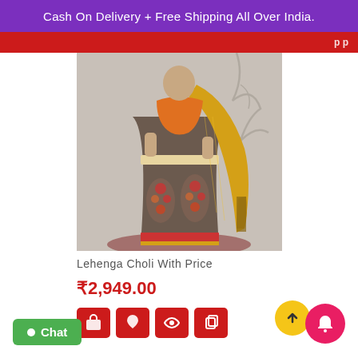Cash On Delivery + Free Shipping All Over India.
[Figure (photo): Woman wearing a traditional Indian lehenga choli — dark brown/grey embroidered skirt with floral motifs, yellow/gold dupatta with brocade border, orange blouse top. Photographed against a grey wall with bare tree branch decor.]
Lehenga Choli With Price
₹2,949.00
Chat